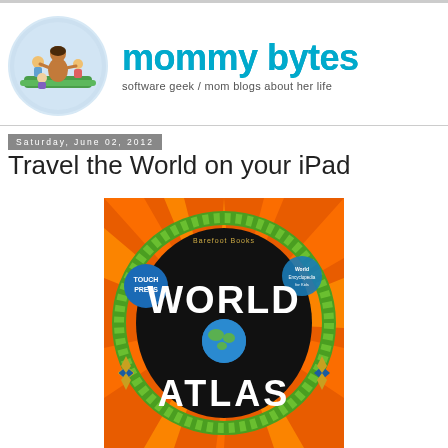[Figure (logo): Mommy Bytes blog logo: circular illustration of a mother with children on the left, and 'mommy bytes' in large cyan/blue text on the right, with tagline 'software geek / mom blogs about her life']
Saturday, June 02, 2012
Travel the World on your iPad
[Figure (photo): World Atlas book cover by Barefoot Books / Touch Press — colorful orange and green design with 'WORLD ATLAS' text, globe in center, compass roses on sides]